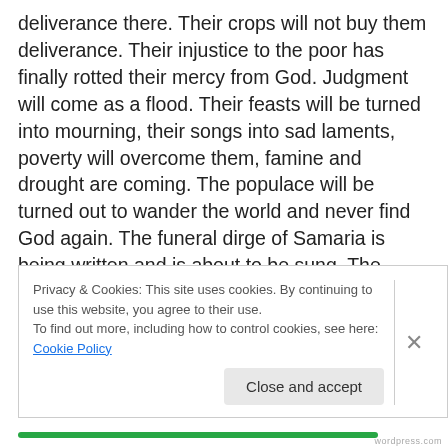deliverance there. Their crops will not buy them deliverance. Their injustice to the poor has finally rotted their mercy from God. Judgment will come as a flood. Their feasts will be turned into mourning, their songs into sad laments, poverty will overcome them, famine and drought are coming. The populace will be turned out to wander the world and never find God again. The funeral dirge of Samaria is being written and is about to be sung. The nation began by Jeroboam 200 years ago is now reduced to a basket of rotting fruit. No one in the world will ever desire to partake of this fruit again.
Privacy & Cookies: This site uses cookies. By continuing to use this website, you agree to their use.
To find out more, including how to control cookies, see here: Cookie Policy
Close and accept